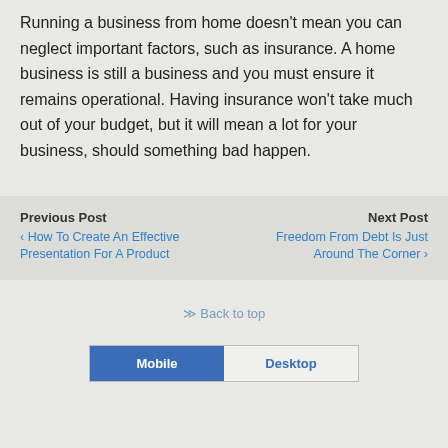Running a business from home doesn't mean you can neglect important factors, such as insurance. A home business is still a business and you must ensure it remains operational. Having insurance won't take much out of your budget, but it will mean a lot for your business, should something bad happen.
Previous Post
‹ How To Create An Effective Presentation For A Product
Next Post
Freedom From Debt Is Just Around The Corner ›
⇪ Back to top
Mobile   Desktop